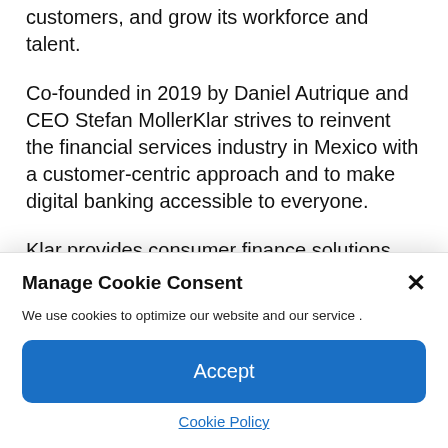customers, and grow its workforce and talent.
Co-founded in 2019 by Daniel Autrique and CEO Stefan MollerKlar strives to reinvent the financial services industry in Mexico with a customer-centric approach and to make digital banking accessible to everyone.
Klar provides consumer finance solutions including credit, mobile payments, rewards
Manage Cookie Consent
We use cookies to optimize our website and our service .
Accept
Cookie Policy